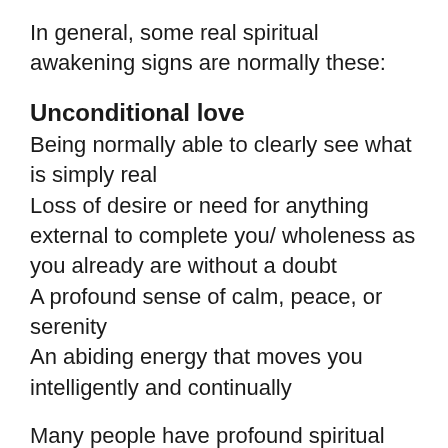In general, some real spiritual awakening signs are normally these:
Unconditional love
Being normally able to clearly see what is simply real
Loss of desire or need for anything external to complete you/ wholeness as you already are without a doubt
A profound sense of calm, peace, or serenity
An abiding energy that moves you intelligently and continually
Many people have profound spiritual openings and glimpses of awakening, which is normally wonderful. This happens all the time after people have gone to spiritual retreats or spent time with spiritual teachers